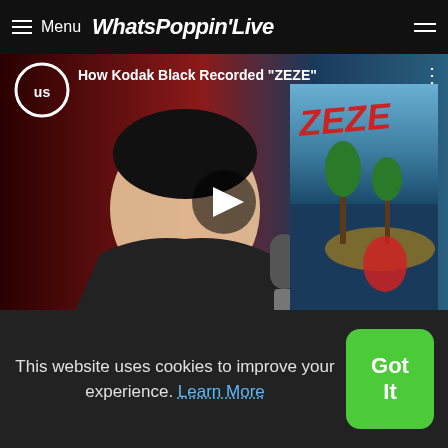Menu WhatsPoppinLive
[Figure (screenshot): YouTube-style video thumbnail for 'How Kodak Black Recorded ZEZE' with a play button overlay, US logo circle, and ZEZE album art on the right side]
[Figure (photo): Thumbnail image showing a person in a green mask costume (The Mask) with caption 'Eddie Griffin On Donald']
This website uses cookies to improve your experience. Learn More
Got It